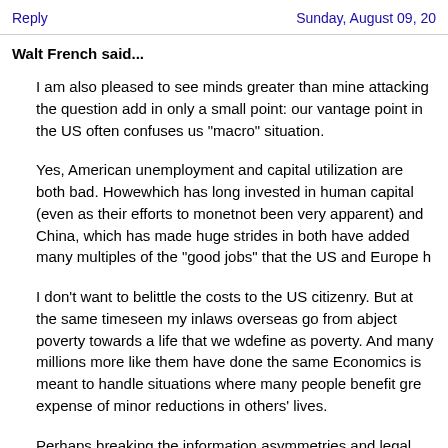Reply | Sunday, August 09, 20...
Walt French said...
I am also pleased to see minds greater than mine attacking the question... add in only a small point: our vantage point in the US often confuses us... "macro" situation.
Yes, American unemployment and capital utilization are both bad. Howe... which has long invested in human capital (even as their efforts to monet... not been very apparent) and China, which has made huge strides in bot... have added many multiples of the "good jobs" that the US and Europe h...
I don't want to belittle the costs to the US citizenry. But at the same time... seen my inlaws overseas go from abject poverty towards a life that we w... define as poverty. And many millions more like them have done the sam... Economics is meant to handle situations where many people benefit gre... expense of minor reductions in others' lives.
Perhaps breaking the information asymmetries and legal barriers is lead... away from US monopolies into a more efficient allocation of resources a... world. Even as the US situation is apparently getting worse, witness the... dozen of billion dollars my Governator has terminated from K-12 educati... one of the worst possible decisions I have seen in my lifetime. And all in...